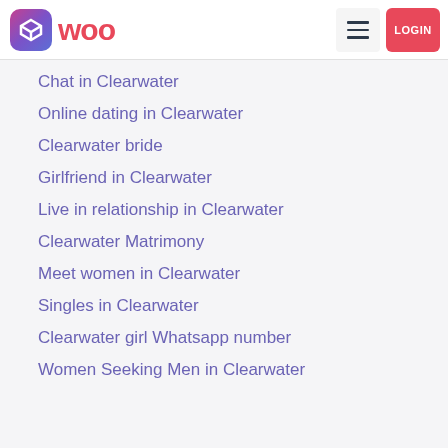woo | LOGIN
Chat in Clearwater
Online dating in Clearwater
Clearwater bride
Girlfriend in Clearwater
Live in relationship in Clearwater
Clearwater Matrimony
Meet women in Clearwater
Singles in Clearwater
Clearwater girl Whatsapp number
Women Seeking Men in Clearwater